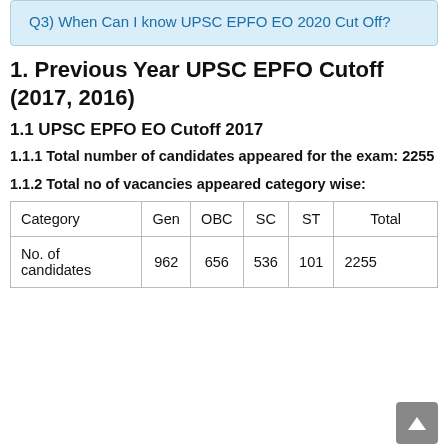Q3) When Can I know UPSC EPFO EO 2020 Cut Off?
1. Previous Year UPSC EPFO Cutoff (2017, 2016)
1.1 UPSC EPFO EO Cutoff 2017
1.1.1 Total number of candidates appeared for the exam: 2255
1.1.2 Total no of vacancies appeared category wise:
| Category | Gen | OBC | SC | ST | Total |
| --- | --- | --- | --- | --- | --- |
| No. of candidates | 962 | 656 | 536 | 101 | 2255 |